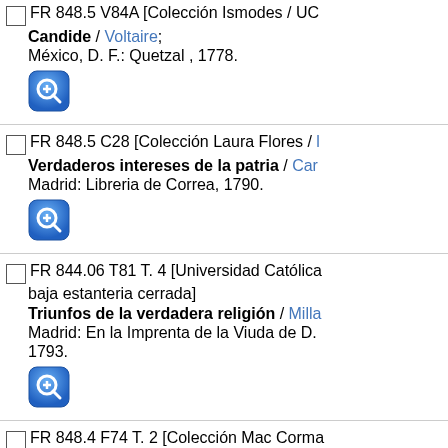FR 848.5 V84A [Colección Ismodes / UC...  Candide / Voltaire; México, D. F.: Quetzal , 1778.
FR 848.5 C28 [Colección Laura Flores / ...  Verdaderos intereses de la patria / Car... Madrid: Libreria de Correa, 1790.
FR 844.06 T81 T. 4 [Universidad Católica... baja estanteria cerrada]  Triunfos de la verdadera religión / Milla... Madrid: En la Imprenta de la Viuda de D. 1793.
FR 848.4 F74 T. 2 [Colección Mac Corma... estanteria cerrada]  Fables de La Fontaine / La Fontaine, Je... Leipsic: Chez Gerard Fleischer Le Cadet...
FR 848.5 L51 T. 1 [Colección Laura Flore...  El bachiller de Salamanca, ó aventuras... de la ronda / Lesage, M.; Madrid: Lib. de Ramos, 1821.